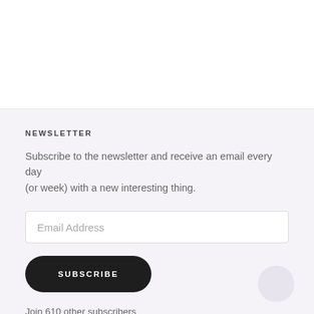NEWSLETTER
Subscribe to the newsletter and receive an email every day (or week) with a new interesting thing.
Email Address
SUBSCRIBE
Join 610 other subscribers